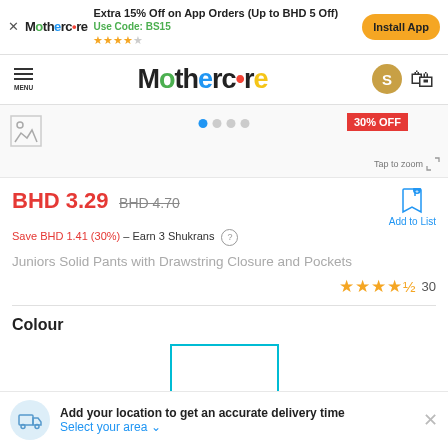Extra 15% Off on App Orders (Up to BHD 5 Off) Use Code: BS15 ★★★★☆ Install App
MENU Mothercare
[Figure (screenshot): Product image area with broken image thumbnail, navigation dots, 30% OFF badge, and Tap to zoom icon]
BHD 3.29 BHD 4.70
Save BHD 1.41 (30%) – Earn 3 Shukrans
Juniors Solid Pants with Drawstring Closure and Pockets
★★★★½ 30
Colour
[Figure (other): White colour swatch with cyan/teal border indicating selected colour]
Add your location to get an accurate delivery time Select your area ▼